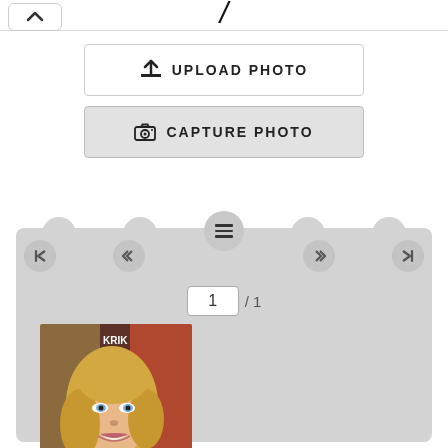[Figure (screenshot): Top bar with chevron up button and slash/edit icon]
↑ UPLOAD PHOTO
⊙ CAPTURE PHOTO
[Figure (screenshot): Navigation panel with scalloped top edge, prev/next buttons, hamburger menu, page indicator showing 1/1, and a photo thumbnail of Anna Camp]
Anna Camp